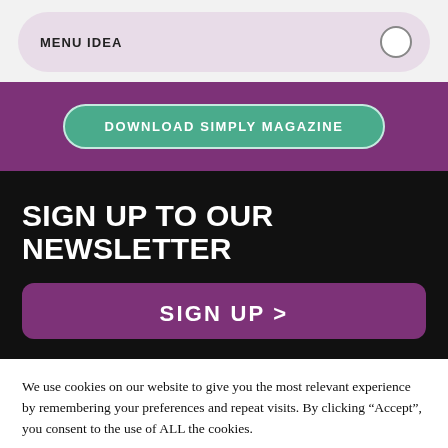MENU IDEA
DOWNLOAD SIMPLY MAGAZINE
SIGN UP TO OUR NEWSLETTER
SIGN UP >
We use cookies on our website to give you the most relevant experience by remembering your preferences and repeat visits. By clicking “Accept”, you consent to the use of ALL the cookies.
Cookie settings
ACCEPT